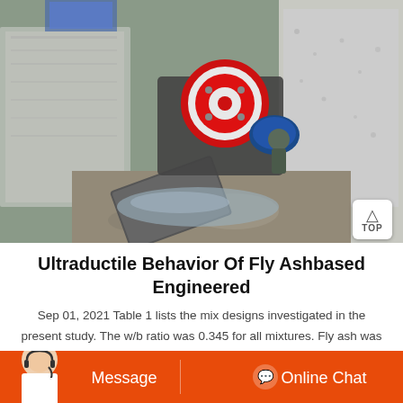[Figure (photo): Overhead/aerial view of industrial concrete crushing or processing machinery in a pit, with large concrete walls on sides, conveyor belt, red flywheel, and a worker visible. Debris and rubble on ground.]
Ultraductile Behavior Of Fly Ashbased Engineered
Sep 01, 2021 Table 1 lists the mix designs investigated in the present study. The w/b ratio was 0.345 for all mixtures. Fly ash was the main source of aluminosilicate. The chemical compositions of fly ash, as
[Figure (photo): Customer service agent/chat interface at bottom: woman wearing headset on left, orange bar with 'Message' button on left half and 'Online Chat' button with chat icon on right half.]